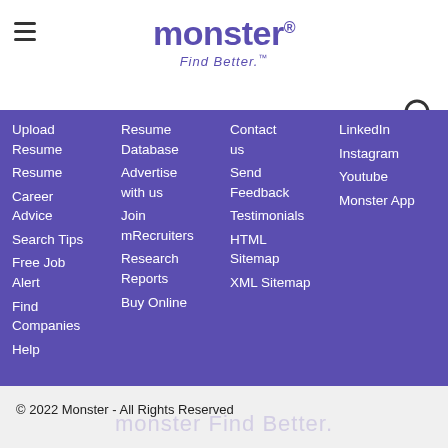monster® Find Better.™
Upload Resume
Resume
Career Advice
Search Tips
Free Job Alert
Find Companies
Help
Resume Database
Advertise with us
Join mRecruiters
Research Reports
Buy Online
Contact us
Send Feedback
Testimonials
HTML Sitemap
XML Sitemap
LinkedIn
Instagram
Youtube
Monster App
© 2022 Monster - All Rights Reserved